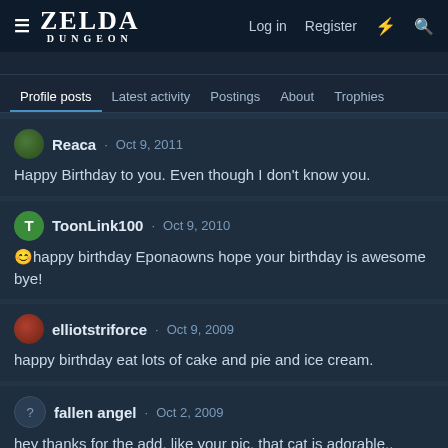ZELDA DUNGEON — Log in | Register
Profile posts | Latest activity | Postings | About | Trophies
Reaca · Oct 9, 2011
Happy Birthday to you. Even though I don't know you.
ToonLink100 · Oct 9, 2010
happy birthday Eponaowns hope your birthday is awesome bye!
elliotstriforce · Oct 9, 2009
happy birthday eat lots of cake and pie and ice cream.
fallen angel · Oct 2, 2009
hey thanks for the add, like your pic, that cat is adorable..